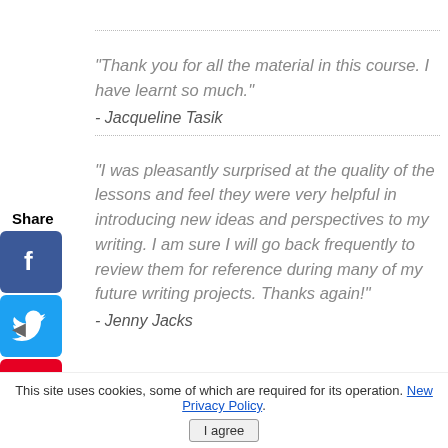"Thank you for all the material in this course. I have learnt so much."
- Jacqueline Tasik
"I was pleasantly surprised at the quality of the lessons and feel they were very helpful in introducing new ideas and perspectives to my writing. I am sure I will go back frequently to review them for reference during many of my future writing projects. Thanks again!"
- Jenny Jacks
This site uses cookies, some of which are required for its operation. New Privacy Policy.
I agree